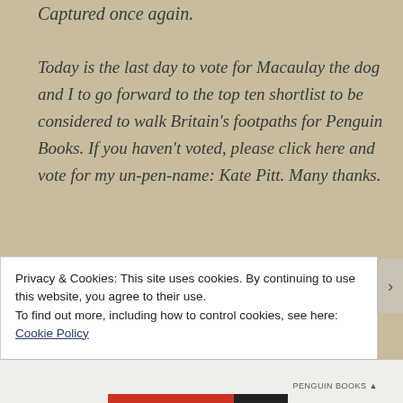Captured once again.
Today is the last day to vote for Macaulay the dog and I to go forward to the top ten shortlist to be considered to walk Britain's footpaths for Penguin Books. If you haven't voted, please click here and vote for my un-pen-name: Kate Pitt. Many thanks.
Privacy & Cookies: This site uses cookies. By continuing to use this website, you agree to their use.
To find out more, including how to control cookies, see here: Cookie Policy
Close and accept